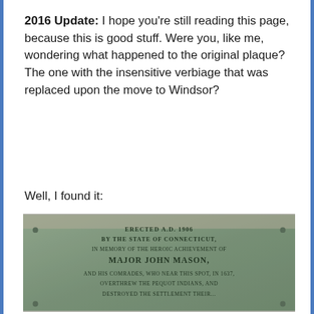2016 Update: I hope you're still reading this page, because this is good stuff. Were you, like me, wondering what happened to the original plaque? The one with the insensitive verbiage that was replaced upon the move to Windsor?
Well, I found it:
[Figure (photo): Photograph of an old bronze/metal plaque with text partially visible: 'ERECTED A.D. 1906 BY THE STATE OF CONNECTICUT IN MEMORY OF THE HEROIC ACHIEVEMENT OF MAJOR JOHN MASON, AND HIS COMRADES, WHO NEAR THIS SPOT, IN 1637, OVERTHREW THE PEQUOT INDIANS, AND DESTROYED THE SETTLEMENT THEIR...']